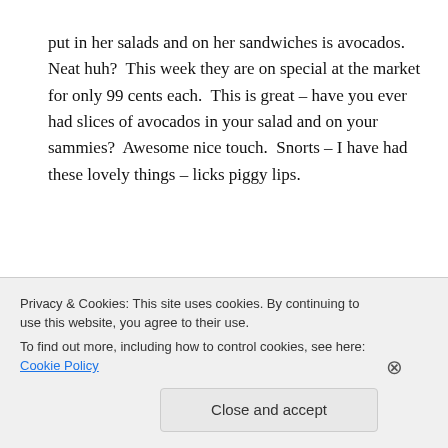put in her salads and on her sandwiches is avocados.  Neat huh?  This week they are on special at the market for only 99 cents each.  This is great – have you ever had slices of avocados in your salad and on your sammies?  Awesome nice touch.  Snorts – I have had these lovely things – licks piggy lips.
.
I hope you had fun my friends with this month's edition of
Privacy & Cookies: This site uses cookies. By continuing to use this website, you agree to their use.
To find out more, including how to control cookies, see here: Cookie Policy